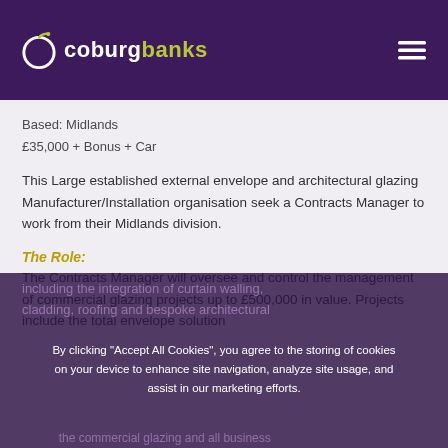coburg banks
Based: Midlands
£35,000 + Bonus + Car
This Large established external envelope and architectural glazing Manufacturer/Installation organisation seek a Contracts Manager to work from their Midlands division.
The Role:
The Contracts Manager will oversee and control the management of commercial glazing projects up to £500,000 in value. Projects include the total envelope solution including the integration of curtain walling, cladding, roofing and bespoke architectural...
By clicking "Accept All Cookies", you agree to the storing of cookies on your device to enhance site navigation, analyze site usage, and assist in our marketing efforts.